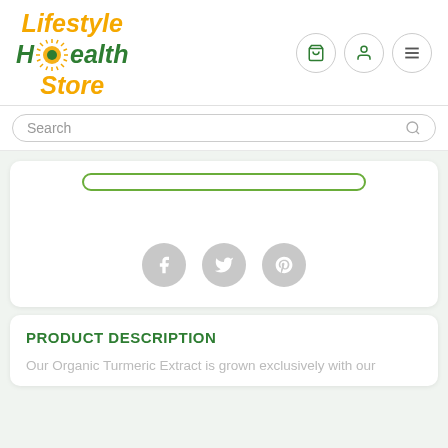[Figure (logo): Lifestyle Health Store logo with sun icon, 'Lifestyle' and 'Store' in orange italic, 'Health' in green italic bold]
[Figure (infographic): Navigation icons: shopping cart, user profile, and hamburger menu in circular bordered buttons]
Search
[Figure (infographic): Add to cart button (outlined green rounded rectangle) at top of product card]
[Figure (infographic): Social sharing icons: Facebook, Twitter, Pinterest in grey circles]
PRODUCT DESCRIPTION
Our Organic Turmeric Extract is grown exclusively with our